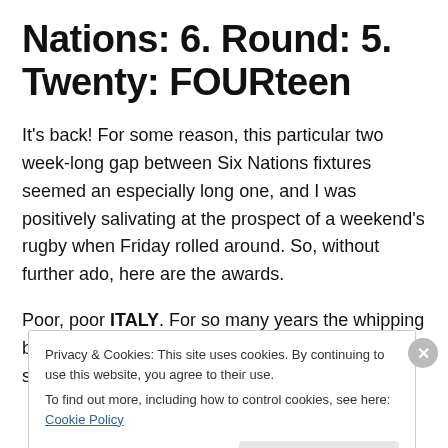Nations: 6. Round: 5. Twenty: FOURteen
It's back! For some reason, this particular two week-long gap between Six Nations fixtures seemed an especially long one, and I was positively salivating at the prospect of a weekend's rugby when Friday rolled around. So, without further ado, here are the awards.
Poor, poor ITALY. For so many years the whipping boys of the championship, condemned to scrapping for the
Privacy & Cookies: This site uses cookies. By continuing to use this website, you agree to their use.
To find out more, including how to control cookies, see here: Cookie Policy